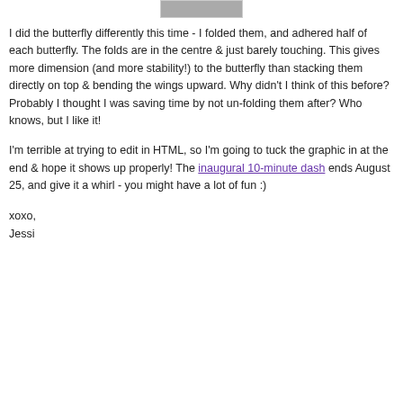[Figure (other): Partial image of a graphic at the top of the page, showing a grey/silver bar element, partially cut off]
I did the butterfly differently this time - I folded them, and adhered half of each butterfly. The folds are in the centre & just barely touching. This gives more dimension (and more stability!) to the butterfly than stacking them directly on top & bending the wings upward. Why didn't I think of this before? Probably I thought I was saving time by not un-folding them after? Who knows, but I like it!
I'm terrible at trying to edit in HTML, so I'm going to tuck the graphic in at the end & hope it shows up properly! The inaugural 10-minute dash ends August 25, and give it a whirl - you might have a lot of fun :)
xoxo,
Jessi